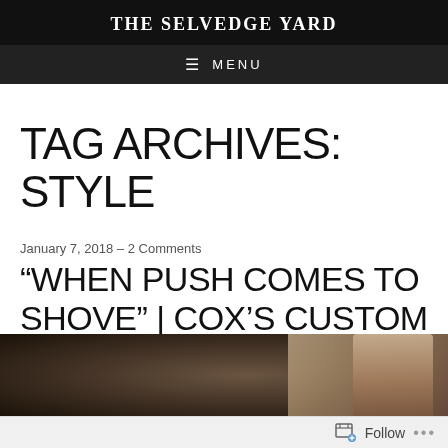THE SELVEDGE YARD
≡ MENU
TAG ARCHIVES: STYLE
January 7, 2018  –  2 Comments
“WHEN PUSH COMES TO SHOVE” | COX’S CUSTOM CHOPPER FIT FOR BRAD PITT
[Figure (photo): Outdoor action photo of a person, dark background with trees, visible upper body in lower right area of the strip]
Follow